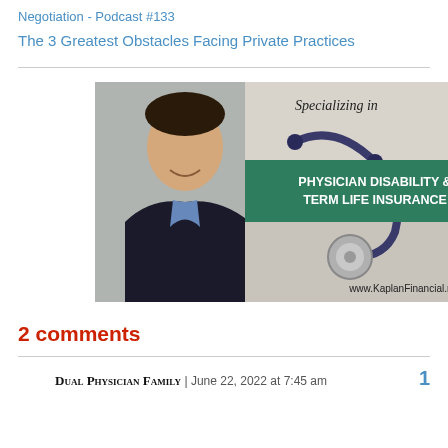Negotiation - Podcast #133
The 3 Greatest Obstacles Facing Private Practices
[Figure (illustration): Advertisement banner for Kaplan Financial showing a man in a suit on the left, a stethoscope on a desk, text 'Specializing in PHYSICIAN DISABILITY & TERM LIFE INSURANCE' on a green banner, and website www.KaplanFinancial.net]
2 comments
Dual Physician Family | June 22, 2022 at 7:45 am   1